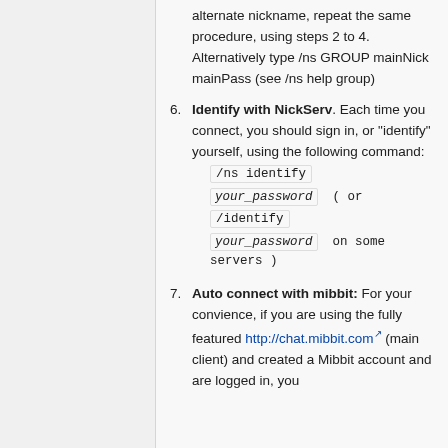alternate nickname, repeat the same procedure, using steps 2 to 4. Alternatively type /ns GROUP mainNick mainPass (see /ns help group)
Identify with NickServ. Each time you connect, you should sign in, or "identify" yourself, using the following command: /ns identify your_password ( or /identify your_password on some servers )
Auto connect with mibbit: For your convience, if you are using the fully featured http://chat.mibbit.com (main client) and created a Mibbit account and are logged in, you